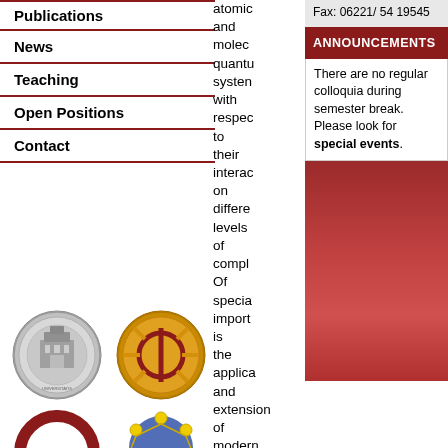Publications
News
Teaching
Open Positions
Contact
[Figure (logo): University seal logo (silver coin style)]
[Figure (logo): Physics symbol logo (gold/red circular badge)]
[Figure (logo): Red circular arrow logo]
[Figure (logo): Coherence molecular/cluster logo with text COHERENCE]
atomic and molecular quantum systems with respect to their interaction on different levels of complexity. Of special importance is the application and extension of modern
Fax: 06221/ 54 19545
ANNOUNCEMENTS
There are no regular colloquia during semester break. Please look for special events.